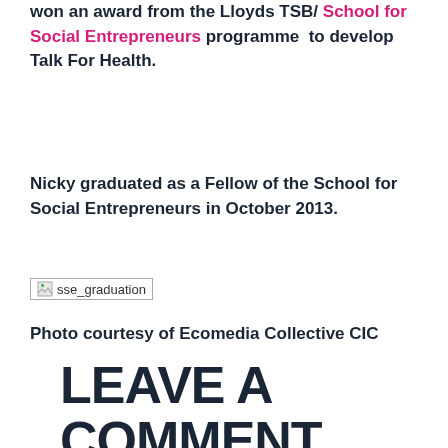won an award from the Lloyds TSB/ School for Social Entrepreneurs programme to develop Talk For Health.
Nicky graduated as a Fellow of the School for Social Entrepreneurs in October 2013.
[Figure (photo): Broken image placeholder showing alt text 'sse_graduation']
Photo courtesy of Ecomedia Collective CIC
LEAVE A COMMENT